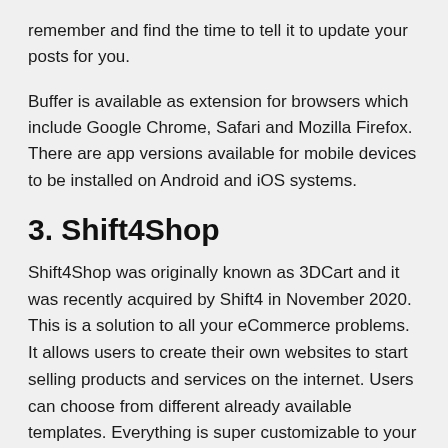remember and find the time to tell it to update your posts for you.
Buffer is available as extension for browsers which include Google Chrome, Safari and Mozilla Firefox. There are app versions available for mobile devices to be installed on Android and iOS systems.
3. Shift4Shop
Shift4Shop was originally known as 3DCart and it was recently acquired by Shift4 in November 2020. This is a solution to all your eCommerce problems. It allows users to create their own websites to start selling products and services on the internet. Users can choose from different already available templates. Everything is super customizable to your liking, mobile-friendly and also SEO-optimized.